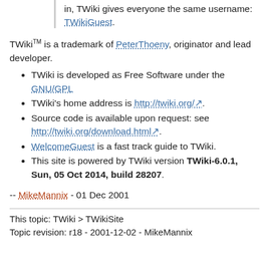in, TWiki gives everyone the same username: TWikiGuest.
TWiki™ is a trademark of PeterThoeny, originator and lead developer.
TWiki is developed as Free Software under the GNU/GPL
TWiki's home address is http://twiki.org/.
Source code is available upon request: see http://twiki.org/download.html.
WelcomeGuest is a fast track guide to TWiki.
This site is powered by TWiki version TWiki-6.0.1, Sun, 05 Oct 2014, build 28207.
-- MikeMannix - 01 Dec 2001
This topic: TWiki > TWikiSite
Topic revision: r18 - 2001-12-02 - MikeMannix